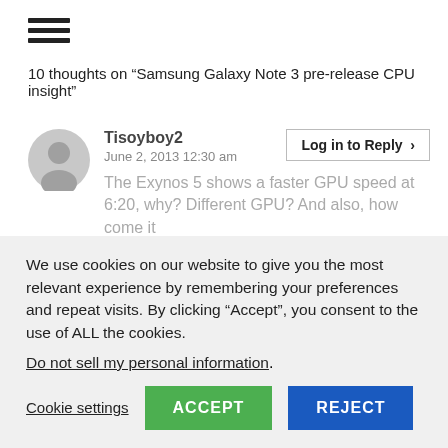[Figure (other): Hamburger menu icon (three horizontal lines)]
10 thoughts on “Samsung Galaxy Note 3 pre-release CPU insight”
Tisoyboy2
June 2, 2013 12:30 am
The Exynos 5 shows a faster GPU speed at 6:20, why? Different GPU? And also, how come it
We use cookies on our website to give you the most relevant experience by remembering your preferences and repeat visits. By clicking “Accept”, you consent to the use of ALL the cookies.
Do not sell my personal information.
Cookie settings  ACCEPT  REJECT